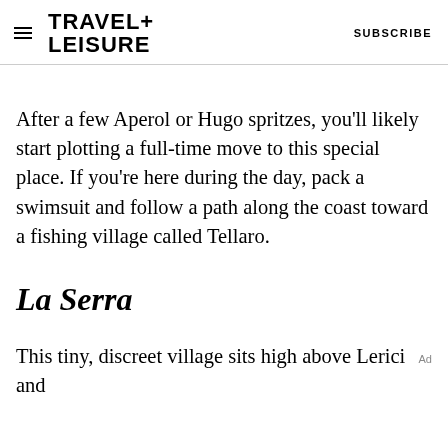TRAVEL+ LEISURE   SUBSCRIBE
After a few Aperol or Hugo spritzes, you'll likely start plotting a full-time move to this special place. If you're here during the day, pack a swimsuit and follow a path along the coast toward a fishing village called Tellaro.
La Serra
This tiny, discreet village sits high above Lerici and